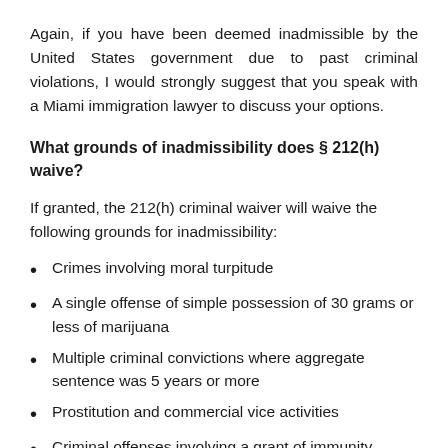Again, if you have been deemed inadmissible by the United States government due to past criminal violations, I would strongly suggest that you speak with a Miami immigration lawyer to discuss your options.
What grounds of inadmissibility does § 212(h) waive?
If granted, the 212(h) criminal waiver will waive the following grounds for inadmissibility:
Crimes involving moral turpitude
A single offense of simple possession of 30 grams or less of marijuana
Multiple criminal convictions where aggregate sentence was 5 years or more
Prostitution and commercial vice activities
Criminal offenses involving a grant of immunity